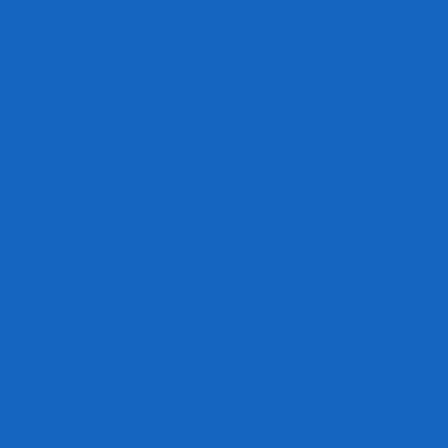Philliphound op 06-02-2020 o
Fantastic facts. Thank you! <a href="https://nextdayneuronti
Philliphound op 06-02-2020 o
With thanks. A lot of tips!
<a href="https://flomaxtoday.
href="https://alisinoprilus.con
href="https://diflucan4u.com/
href="https://hydrochlorothia
Verses Hydrochlorothiazide<
href="https://weightlosswellb
LarryGoorp op 06-02-2020 o
This is nicely put! ! <a href="
ErnestTof op 06-02-2020 om
Fine material. Regards! <a href="https://comprarbaclofes
TyroneElirm op 06-02-2020 o
Lovely forum posts, Cheers! pain</a>
Richardtract op 06-02-2020 o